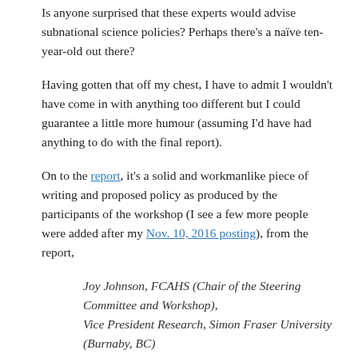Is anyone surprised that these experts would advise subnational science policies? Perhaps there's a naïve ten-year-old out there?
Having gotten that off my chest, I have to admit I wouldn't have come in with anything too different but I could guarantee a little more humour (assuming I'd have had anything to do with the final report).
On to the report, it's a solid and workmanlike piece of writing and proposed policy as produced by the participants of the workshop (I see a few more people were added after my Nov. 10, 2016 posting), from the report,
Joy Johnson, FCAHS (Chair of the Steering Committee and Workshop), Vice President Research, Simon Fraser University (Burnaby, BC)